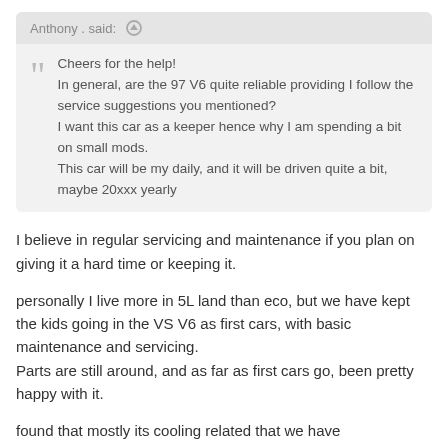Anthony . said: ⊕
Cheers for the help!
In general, are the 97 V6 quite reliable providing I follow the service suggestions you mentioned?
I want this car as a keeper hence why I am spending a bit on small mods.
This car will be my daily, and it will be driven quite a bit, maybe 20xxx yearly
I believe in regular servicing and maintenance if you plan on giving it a hard time or keeping it.
personally I live more in 5L land than eco, but we have kept the kids going in the VS V6 as first cars, with basic maintenance and servicing.
Parts are still around, and as far as first cars go, been pretty happy with it.
found that mostly its cooling related that we have